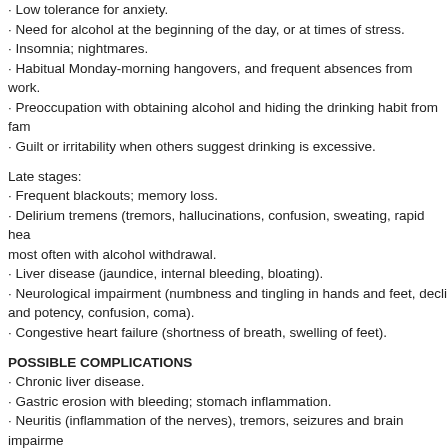· Low tolerance for anxiety.
· Need for alcohol at the beginning of the day, or at times of stress.
· Insomnia; nightmares.
· Habitual Monday-morning hangovers, and frequent absences from work.
· Preoccupation with obtaining alcohol and hiding the drinking habit from fam…
· Guilt or irritability when others suggest drinking is excessive.
Late stages:
· Frequent blackouts; memory loss.
· Delirium tremens (tremors, hallucinations, confusion, sweating, rapid hea… most often with alcohol withdrawal.
· Liver disease (jaundice, internal bleeding, bloating).
· Neurological impairment (numbness and tingling in hands and feet, decl… and potency, confusion, coma).
· Congestive heart failure (shortness of breath, swelling of feet).
POSSIBLE COMPLICATIONS
· Chronic liver disease.
· Gastric erosion with bleeding; stomach inflammation.
· Neuritis (inflammation of the nerves), tremors, seizures and brain impairme…
· Inflammation of the pancreas.
· Inflammation of the heart.
· Mental and physical damage to the foetus if a woman drinks during pregna…
· Family members of alcoholics may develop psychological symptoms requ… support groups such as Alcoholics Anonymous.
PREVENTION AND TREATMENT